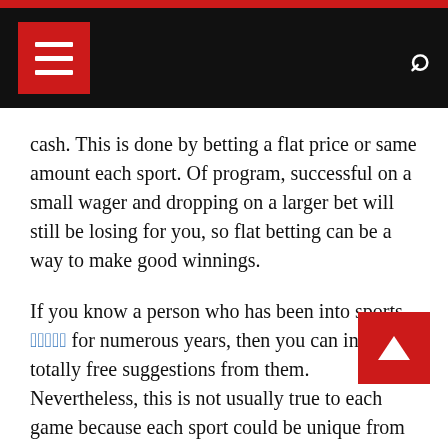Navigation bar with menu and search icons
cash. This is done by betting a flat price or same amount each sport. Of program, successful on a small wager and dropping on a larger bet will still be losing for you, so flat betting can be a way to make good winnings.
If you know a person who has been into sports [link] for numerous years, then you can inquire totally free suggestions from them. Nevertheless, this is not usually true to each game because each sport could be unique from each other. Soccer is a game of power, person ability and numerous elements to be considered to win the wager. These aspects and features barely embodies in a solitary individual. So time will certainly come that you need to look for other specialists for suggestions that you might not know at all but exhibits feasible expertise for